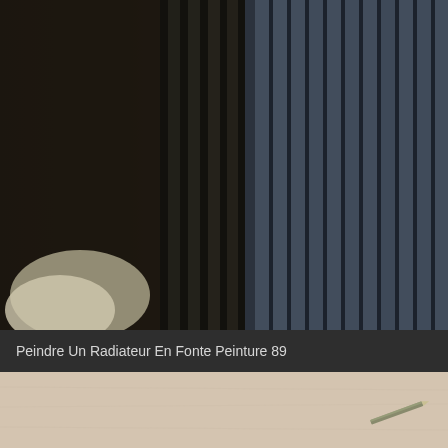[Figure (photo): Close-up photograph of dark vertical metal fins or slats of a cast iron radiator, with bluish-grey tones on the right side and dark brown/black tones on the left, with a piece of light-colored material visible at the bottom left corner.]
Peindre Un Radiateur En Fonte Peinture 89
[Figure (photo): Lower portion of an image showing a light beige/tan textured surface, possibly a wall or floor, with a small metallic object (appears to be a pen or tool) visible in the lower right area.]